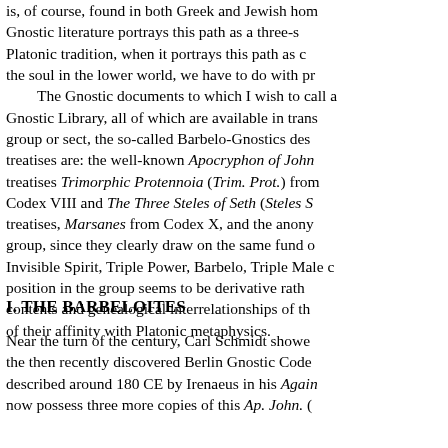is, of course, found in both Greek and Jewish ho… Gnostic literature portrays this path as a three-s… Platonic tradition, when it portrays this path as c… the soul in the lower world, we have to do with pr…
The Gnostic documents to which I wish to call a… Gnostic Library, all of which are available in trans… group or sect, the so-called Barbelo-Gnostics des… treatises are: the well-known Apocryphon of Joh… treatises Trimorphic Protennoia (Trim. Prot.) from … Codex VIII and The Three Steles of Seth (Steles S… treatises, Marsanes from Codex X, and the anony… group, since they clearly draw on the same fund … Invisible Spirit, Triple Power, Barbelo, Triple Male c… position in the group seems to be derivative rath… contents and genealogical interrelationships of th… of their affinity with Platonic metaphysics.
I. THE BARBELOITES
Near the turn of the century, Carl Schmidt showe… the then recently discovered Berlin Gnostic Code… described around 180 CE by Irenaeus in his Again… now possess three more copies of this Ap. John. (